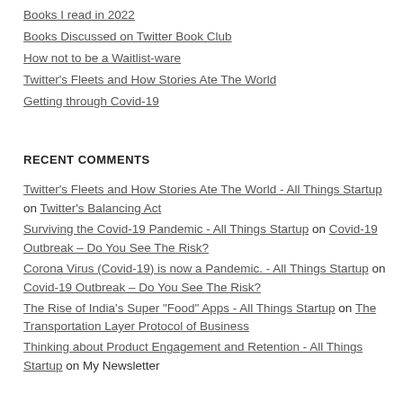Books I read in 2022
Books Discussed on Twitter Book Club
How not to be a Waitlist-ware
Twitter's Fleets and How Stories Ate The World
Getting through Covid-19
RECENT COMMENTS
Twitter's Fleets and How Stories Ate The World - All Things Startup on Twitter's Balancing Act
Surviving the Covid-19 Pandemic - All Things Startup on Covid-19 Outbreak – Do You See The Risk?
Corona Virus (Covid-19) is now a Pandemic. - All Things Startup on Covid-19 Outbreak – Do You See The Risk?
The Rise of India's Super "Food" Apps - All Things Startup on The Transportation Layer Protocol of Business
Thinking about Product Engagement and Retention - All Things Startup on My Newsletter